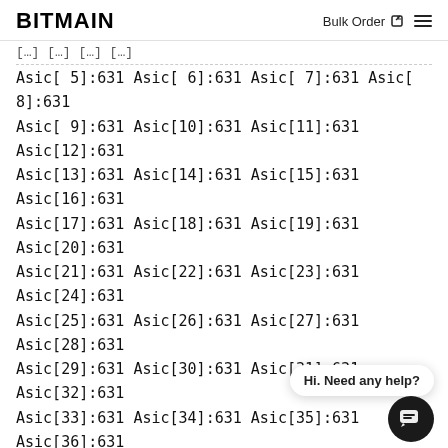BITMAIN  Bulk Order  ☰
Asic[ 5]:631 Asic[ 6]:631 Asic[ 7]:631 Asic[ 8]:631
Asic[ 9]:631 Asic[10]:631 Asic[11]:631 Asic[12]:631
Asic[13]:631 Asic[14]:631 Asic[15]:631 Asic[16]:631
Asic[17]:631 Asic[18]:631 Asic[19]:631 Asic[20]:631
Asic[21]:631 Asic[22]:631 Asic[23]:631 Asic[24]:631
Asic[25]:631 Asic[26]:631 Asic[27]:631 Asic[28]:631
Asic[29]:631 Asic[30]:631 Asic[31]:631 Asic[32]:631
Asic[33]:631 Asic[34]:631 Asic[35]:631 Asic[36]:631
Asic[37]:631 Asic[38]:631 Asic[39]:631 Asic[40]:631
Asic[41]:631 Asic[42]:631 Asic[43]:631 Asic[44]:631
Asic[45]:631 Asic[46]:631 Asic[47]:631 Asic[48]:631
Asic[49]:631 Asic[50]:631 Asic[51]:631
Asic[53]:631 Asic[54]:631 Asic[55]:631 Asic[56]:631
Asic[57]:631 Asic[58]:631 Asic[59]:631 Asic[60]:631
Asic[61]:631 Asic[62]:631
Chain:6 max freq=631